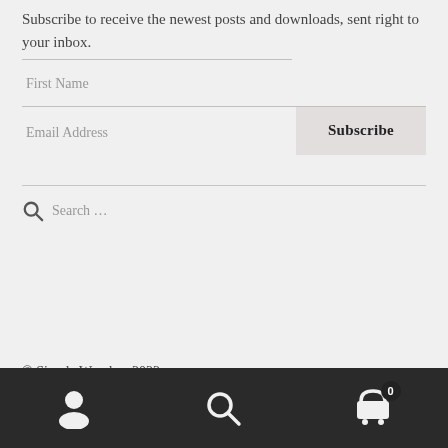Subscribe to receive the newest posts and downloads, sent right to your inbox.
First Name
Email Address
Subscribe
Search ...
© Simple Wonders 2022
[Figure (infographic): Bottom navigation bar with person/user icon, search magnifier icon, and shopping cart icon with badge showing 0]